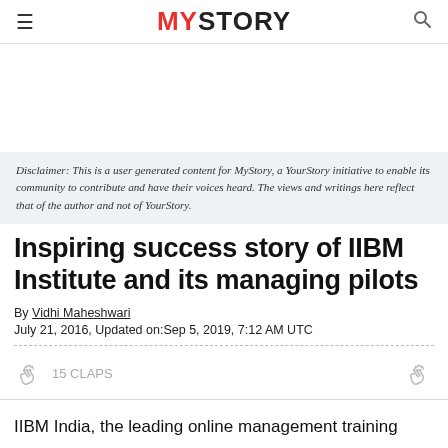MYSTORY
Disclaimer: This is a user generated content for MyStory, a YourStory initiative to enable its community to contribute and have their voices heard. The views and writings here reflect that of the author and not of YourStory.
Inspiring success story of IIBM Institute and its managing pilots
By Vidhi Maheshwari
July 21, 2016, Updated on:Sep 5, 2019, 7:12 AM UTC
15 CLAPS
IIBM India, the leading online management training